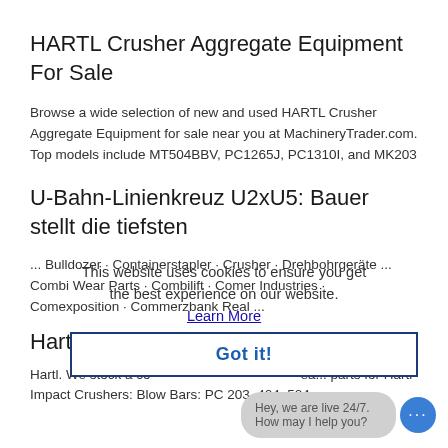HARTL Crusher Aggregate Equipment For Sale
Browse a wide selection of new and used HARTL Crusher Aggregate Equipment for sale near you at MachineryTrader.com. Top models include MT504BBV, PC1265J, PC1310I, and MK203
U-Bahn-Linienkreuz U2xU5: Bauer stellt die tiefsten
... Bulldozer · Containerstapler · Crusher · Drehbohrgeräte ... Combi Wear Parts · Combilift · Comer Industries · Comexposition · Commerzbank Real ...
This website uses cookies to ensure you get the best experience on our website. Learn More
Hartl spare parts
Got it!
Hey, we are live 24/7. How may I help you?
Hartl. We stock a co...ea... parts for Hartl Impact Crushers: Blow Bars: PC 203, 404, 504,